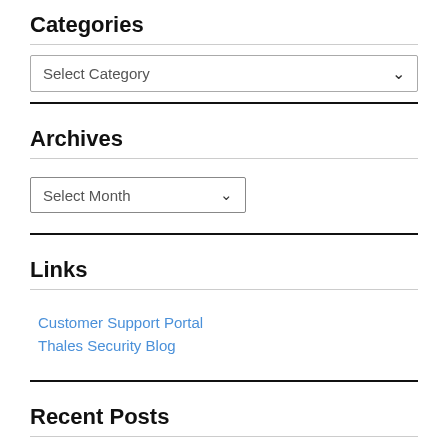Categories
Select Category
Archives
Select Month
Links
Customer Support Portal
Thales Security Blog
Recent Posts